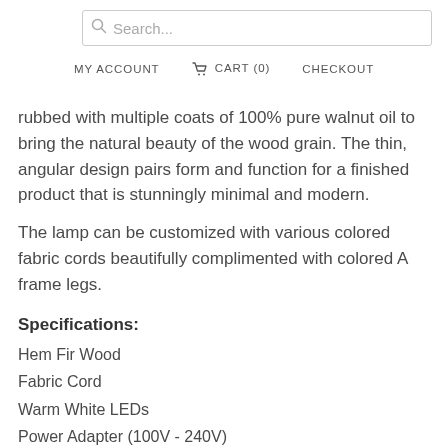Search... | MY ACCOUNT | CART (0) | CHECKOUT
rubbed with multiple coats of 100% pure walnut oil to bring the natural beauty of the wood grain. The thin, angular design pairs form and function for a finished product that is stunningly minimal and modern.
The lamp can be customized with various colored fabric cords beautifully complimented with colored A frame legs.
Specifications:
Hem Fir Wood
Fabric Cord
Warm White LEDs
Power Adapter (100V - 240V)
Dimensions: 60"L x 22"W x 2.5"H
Weight: 2.6 Lbs